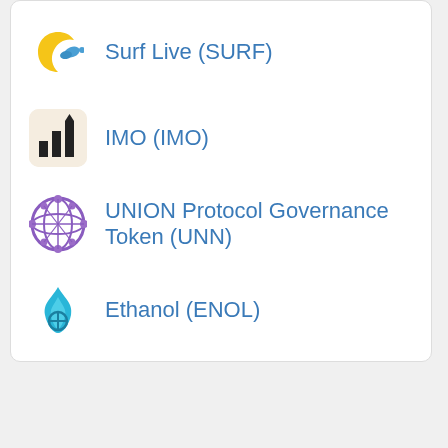Surf Live (SURF)
IMO (IMO)
UNION Protocol Governance Token (UNN)
Ethanol (ENOL)